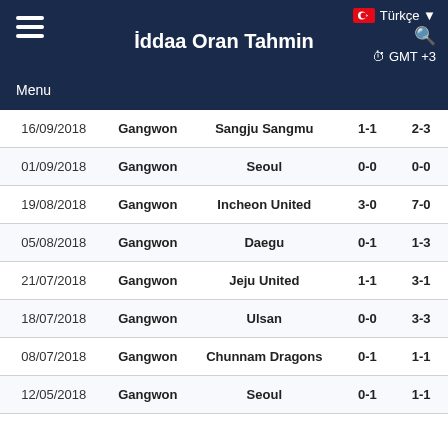İddaa Oran Tahmin
| Date | Home | Away | HT | FT |
| --- | --- | --- | --- | --- |
| 16/09/2018 | Gangwon | Sangju Sangmu | 1-1 | 2-3 |
| 01/09/2018 | Gangwon | Seoul | 0-0 | 0-0 |
| 19/08/2018 | Gangwon | Incheon United | 3-0 | 7-0 |
| 05/08/2018 | Gangwon | Daegu | 0-1 | 1-3 |
| 21/07/2018 | Gangwon | Jeju United | 1-1 | 3-1 |
| 18/07/2018 | Gangwon | Ulsan | 0-0 | 3-3 |
| 08/07/2018 | Gangwon | Chunnam Dragons | 0-1 | 1-1 |
| 12/05/2018 | Gangwon | Seoul | 0-1 | 1-1 |